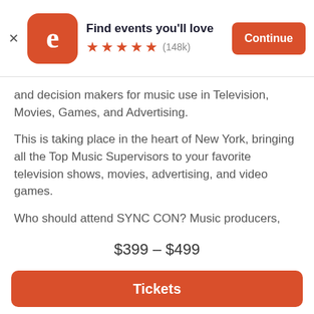[Figure (screenshot): Eventbrite app banner with logo, 'Find events you'll love' title, 5 orange stars rating (148k reviews), and orange Continue button]
and decision makers for music use in Television, Movies, Games, and Advertising.
This is taking place in the heart of New York, bringing all the Top Music Supervisors to your favorite television shows, movies, advertising, and video games.
Who should attend SYNC CON? Music producers, composers, songwriters,  script writers, aspiring music supervisors, aspiring tv producers, filmmakers, music publishers, labels, and much more!
Attendees are in a relaxed, non – judgmental environment where they are free to learn, ask...
$399 – $499
Tickets